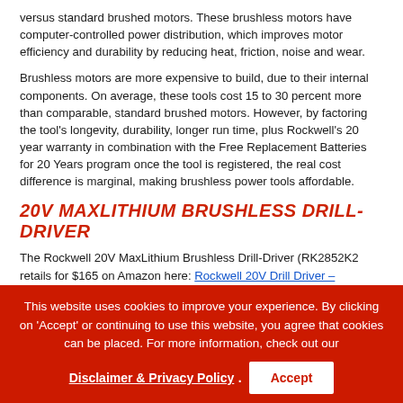versus standard brushed motors. These brushless motors have computer-controlled power distribution, which improves motor efficiency and durability by reducing heat, friction, noise and wear.
Brushless motors are more expensive to build, due to their internal components. On average, these tools cost 15 to 30 percent more than comparable, standard brushed motors. However, by factoring the tool's longevity, durability, longer run time, plus Rockwell's 20 year warranty in combination with the Free Replacement Batteries for 20 Years program once the tool is registered, the real cost difference is marginal, making brushless power tools affordable.
20V MAXLITHIUM BRUSHLESS DRILL-DRIVER
The Rockwell 20V MaxLithium Brushless Drill-Driver (RK2852K2 retails for $165 on Amazon here: Rockwell 20V Drill Driver – RK2852K2, ) is compact and lightweight (3.4 lbs. with battery). Its compact size provides easy access in limited clearance areas. The drill driver has a short headstack and overmold on the back of the
This website uses cookies to improve your experience. By clicking on 'Accept' or continuing to use this website, you agree that cookies can be placed. For more information, check out our
Disclaimer & Privacy Policy . Accept